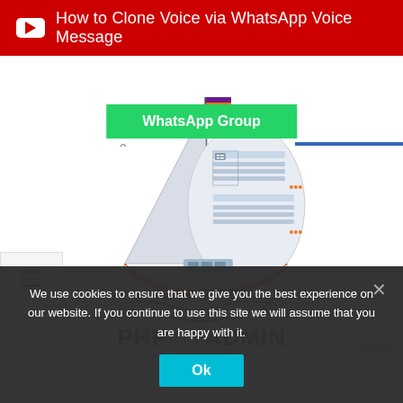How to Clone Voice via WhatsApp Voice Message
[Figure (screenshot): Green WhatsApp Group button and blue underline element]
[Figure (screenshot): Hamburger menu icon button on the left side]
[Figure (illustration): phpMyAdmin sailboat illustration with database table imagery on sail]
phpMyAdmin ONE CLICK INSTALL
We use cookies to ensure that we give you the best experience on our website. If you continue to use this site we will assume that you are happy with it.